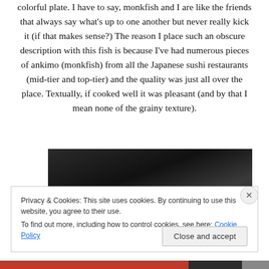colorful plate. I have to say, monkfish and I are like the friends that always say what's up to one another but never really kick it (if that makes sense?) The reason I place such an obscure description with this fish is because I've had numerous pieces of ankimo (monkfish) from all the Japanese sushi restaurants (mid-tier and top-tier) and the quality was just all over the place. Textually, if cooked well it was pleasant (and by that I mean none of the grainy texture).
[Figure (photo): Dark photograph, likely of food on a plate, partially visible behind cookie consent banner]
Privacy & Cookies: This site uses cookies. By continuing to use this website, you agree to their use.
To find out more, including how to control cookies, see here: Cookie Policy